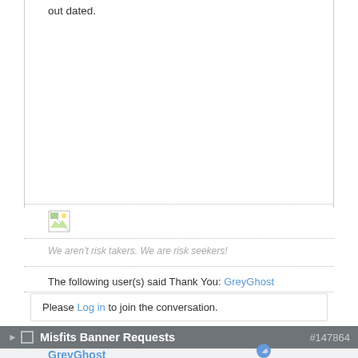out dated.
[Figure (illustration): Broken image placeholder icon - small green and white image icon]
We aren't risk takers. We are risk seekers!
The following user(s) said Thank You: GreyGhost
Please Log in to join the conversation.
Misfits Banner Requests #147864
GreyGhost
[Figure (photo): Circular avatar image showing an airplane against a blue sky]